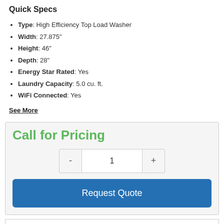Quick Specs
Type: High Efficiency Top Load Washer
Width: 27.875"
Height: 46"
Depth: 28"
Energy Star Rated: Yes
Laundry Capacity: 5.0 cu. ft.
WiFi Connected: Yes
See More
Call for Pricing
Request Quote
Share This Item